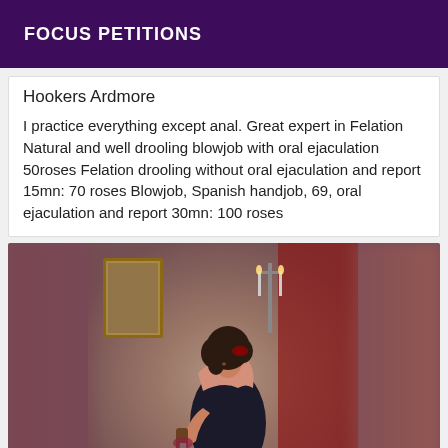FOCUS PETITIONS
Hookers Ardmore
I practice everything except anal. Great expert in Felation Natural and well drooling blowjob with oral ejaculation 50roses Felation drooling without oral ejaculation and report 15mn: 70 roses Blowjob, Spanish handjob, 69, oral ejaculation and report 30mn: 100 roses
[Figure (photo): A woman with dark curly hair in a decorative room setting with candles and ornate furniture, wearing a dark strapless top, looking back over her shoulder. The left and right edges of the image are blurred.]